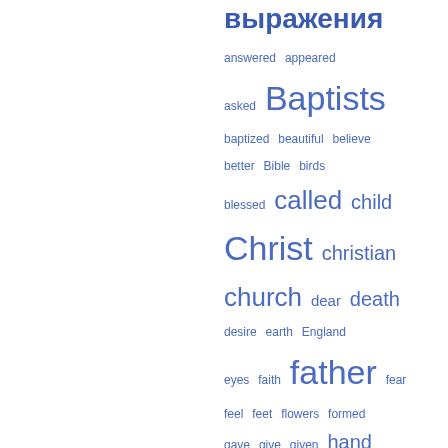выражения
[Figure (other): Word cloud in blue showing religious/spiritual English vocabulary words at various sizes, including: answered, appeared, asked, Baptists, baptized, beautiful, believe, better, Bible, birds, blessed, called, child, Christ, christian, church, dear, death, desire, earth, England, eyes, faith, father, fear, feel, feet, flowers, formed, gave, give, given, hand, happy, head, hear, heard, heart, heaven, holy, hope, hour, hundred, interesting, Jesus, Jesus Christ, kind, king, knew, land, leave, light, live]